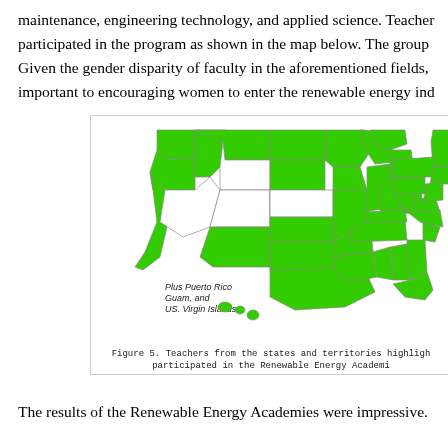maintenance, engineering technology, and applied science. Teachers participated in the program as shown in the map below. The group Given the gender disparity of faculty in the aforementioned fields, important to encouraging women to enter the renewable energy ind
[Figure (map): A map of the United States with states and territories highlighted in green to show where teachers participated in the Renewable Energy Academies. Includes a note: Plus Puerto Rico, Guam, and US. Virgin Islands. Hawaii shown in inset.]
Figure 5. Teachers from the states and territories highlighted participated in the Renewable Energy Academi
The results of the Renewable Energy Academies were impressive.